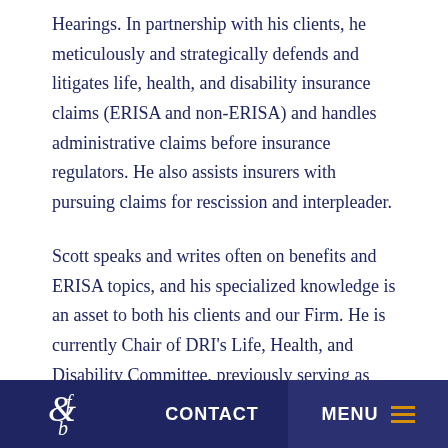Hearings. In partnership with his clients, he meticulously and strategically defends and litigates life, health, and disability insurance claims (ERISA and non-ERISA) and handles administrative claims before insurance regulators. He also assists insurers with pursuing claims for rescission and interpleader.
Scott speaks and writes often on benefits and ERISA topics, and his specialized knowledge is an asset to both his clients and our Firm. He is currently Chair of DRI's Life, Health, and Disability Committee, previously serving as Committee Vice-Chair and Program Chair of the 2017 DRI Life, Health, Disability, and ERISA Seminar. Selected as a
CONTACT   MENU